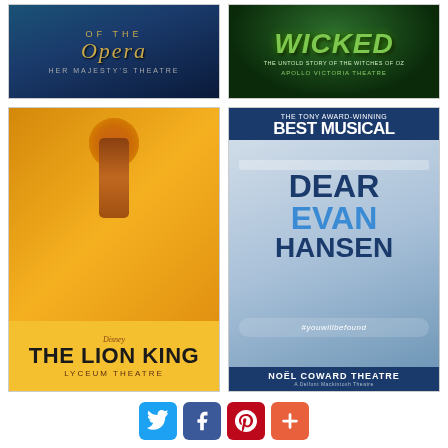[Figure (illustration): Phantom of the Opera musical poster — Her Majesty's Theatre]
[Figure (illustration): Wicked musical poster — Apollo Victoria Theatre, The Untold Story of the Witches of Oz]
[Figure (illustration): Disney's The Lion King musical poster — Lyceum Theatre]
[Figure (illustration): Dear Evan Hansen musical poster — Noël Coward Theatre, The Tony Award-Winning Best Musical, #youwillbefound]
[Figure (infographic): Social sharing buttons: Twitter (blue), Facebook (dark blue), Pinterest (red), More/Plus (orange-red)]